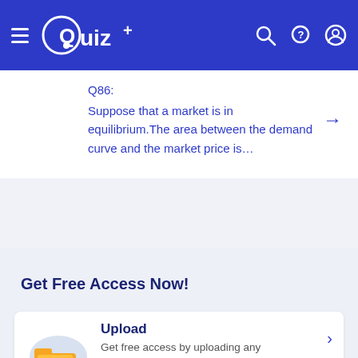Quiz+
Q86: Suppose that a market is in equilibrium.The area between the demand curve and the market price is…
Get Free Access Now!
Upload
Get free access by uploading any valuable academic documents.